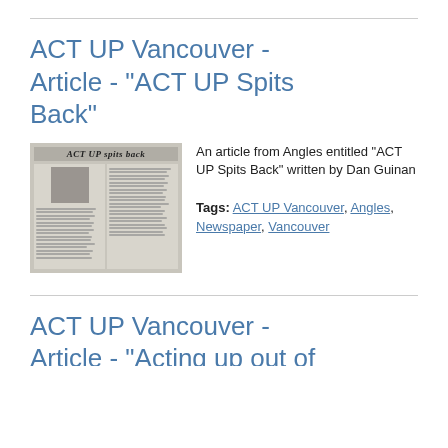ACT UP Vancouver - Article - "ACT UP Spits Back"
[Figure (photo): Photograph of a newspaper article from Angles titled 'ACT UP Spits Back' with columns of text and a photo]
An article from Angles entitled "ACT UP Spits Back" written by Dan Guinan
Tags: ACT UP Vancouver, Angles, Newspaper, Vancouver
ACT UP Vancouver - Article - "Acting up out of sheer frustration"